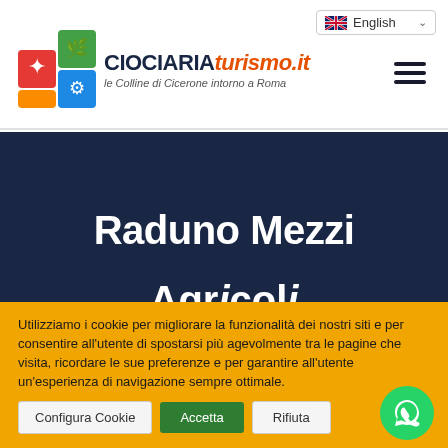[Figure (logo): CIOCIARIAturismo.it logo with colorful cube and tagline 'le Colline di Cicerone intorno a Roma']
English
Raduno Mezzi Agricoli
Utilizziamo i cookie per migliorare la funzionalità dei nostri siti e per consentire all'utente di spostarsi più agevolmente tra le pagine che visita, ricordare le sue preferenze e per garantire all'utente un'esperienza di navigazione sempre ottimale.
Configura Cookie
Accetta
Rifiuta